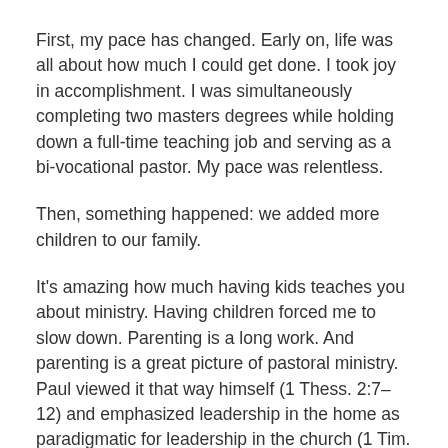First, my pace has changed. Early on, life was all about how much I could get done. I took joy in accomplishment. I was simultaneously completing two masters degrees while holding down a full-time teaching job and serving as a bi-vocational pastor. My pace was relentless.
Then, something happened: we added more children to our family.
It's amazing how much having kids teaches you about ministry. Having children forced me to slow down. Parenting is a long work. And parenting is a great picture of pastoral ministry. Paul viewed it that way himself (1 Thess. 2:7–12) and emphasized leadership in the home as paradigmatic for leadership in the church (1 Tim. 3:4–5, Titus 1:6).